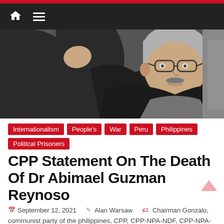Navigation bar with home and menu icons
[Figure (photo): Elderly man with grey hair and glasses raising his fist, wearing a dark jacket over a light shirt. Black and white/muted photo background.]
Internationalism
People's War
Peru
Philippines
Political Prisoners
CPP Statement On The Death Of Dr Abimael Guzman Reynoso
September 12, 2021  Alan Warsaw  Chairman Gonzalo, communist party of the philippines, CPP, CPP-NPA-NDF, CPP-NPA-